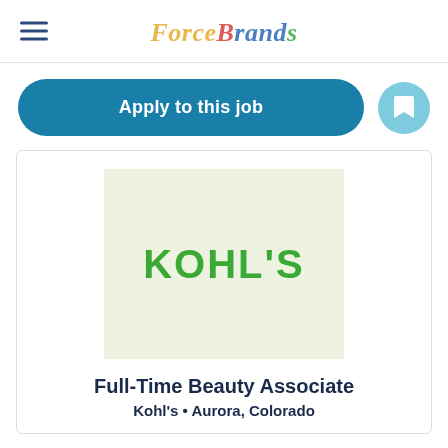ForceBrands
Apply to this job
[Figure (logo): Kohl's logo on light green background]
Full-Time Beauty Associate
Kohl's • Aurora, Colorado